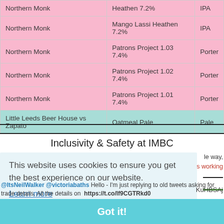| Brewery | Beer | Style |
| --- | --- | --- |
| Northern Monk | Heathen 7.2% | IPA |
| Northern Monk | Mango Lassi Heathen 7.2% | IPA |
| Northern Monk | Patrons Project 1.03 7.4% | Porter |
| Northern Monk | Patrons Project 1.02 7.4% | Porter |
| Northern Monk | Patrons Project 1.01 7.4% | Porter |
| Little Leeds Beer House vs Zapato | Oatmeal Pale | Pale |
Inclusivity & Safety at IMBC
This website uses cookies to ensure you get the best experience on our website. Learn more
the way, s working
KuHBSAj
@ItsNeilWalker @victoriabaths Hello - I'm just replying to old tweets asking for trade details. All the details on https://t.co/lf9CGTRkd0